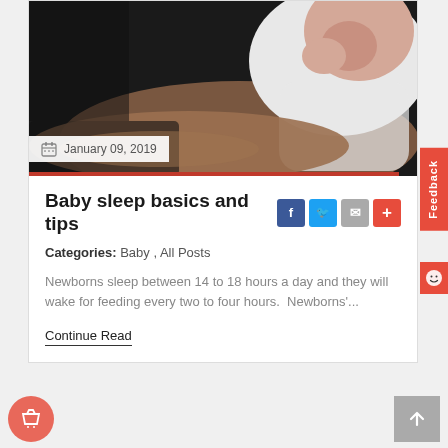[Figure (photo): Newborn baby sleeping in white onesie resting on an adult arm, dark background]
January 09, 2019
Baby sleep basics and tips
Categories: Baby , All Posts
Newborns sleep between 14 to 18 hours a day and they will wake for feeding every two to four hours.  Newborns'...
Continue Read